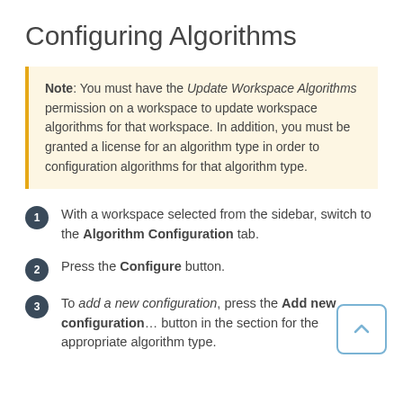Configuring Algorithms
Note: You must have the Update Workspace Algorithms permission on a workspace to update workspace algorithms for that workspace. In addition, you must be granted a license for an algorithm type in order to configuration algorithms for that algorithm type.
With a workspace selected from the sidebar, switch to the Algorithm Configuration tab.
Press the Configure button.
To add a new configuration, press the Add new configuration... button in the section for the appropriate algorithm type.